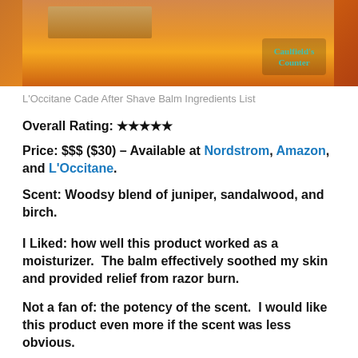[Figure (photo): Photo of L'Occitane Cade After Shave Balm product packaging with orange/warm-toned background and Caulfield's Counter logo overlay]
L'Occitane Cade After Shave Balm Ingredients List
Overall Rating: ★★★★★
Price: $$$ ($30) – Available at Nordstrom, Amazon, and L'Occitane.
Scent: Woodsy blend of juniper, sandalwood, and birch.
I Liked: how well this product worked as a moisturizer.  The balm effectively soothed my skin and provided relief from razor burn.
Not a fan of: the potency of the scent.  I would like this product even more if the scent was less obvious.
L'Occitane's Cade After Shave Balm is more like a face cream.  Its texture is very thick, which makes it better